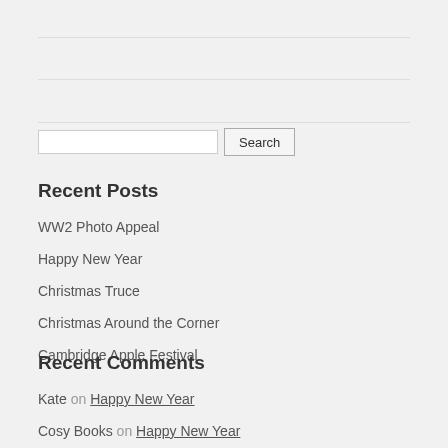[Figure (other): Search input box with Search button]
Recent Posts
WW2 Photo Appeal
Happy New Year
Christmas Truce
Christmas Around the Corner
Cambridge Apple Festival
Recent Comments
Kate on Happy New Year
Cosy Books on Happy New Year
Cosy Books on Christmas Truce